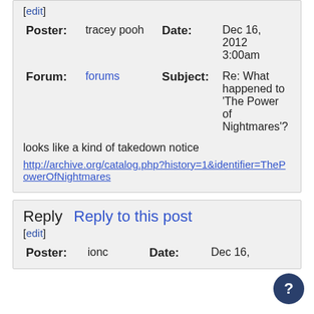[edit]
| Poster: | tracey pooh | Date: | Dec 16, 2012 3:00am |
| Forum: | forums | Subject: | Re: What happened to 'The Power of Nightmares'? |
looks like a kind of takedown notice
http://archive.org/catalog.php?history=1&identifier=ThePowerOfNightmares
Reply  Reply to this post
[edit]
| Poster: | ionc | Date: | Dec 16, |